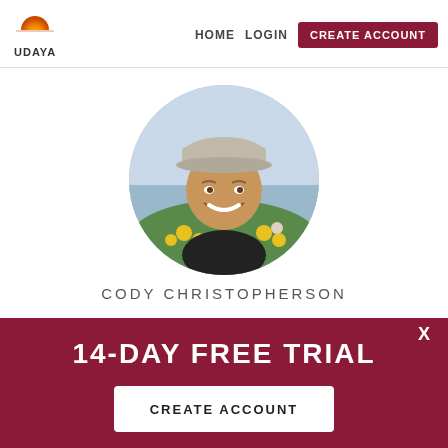UDAYA | HOME | LOGIN | CREATE ACCOUNT
[Figure (photo): Circular profile photo of Cody Christopherson, a smiling young man wearing a gray cap, with flowers and water in the background]
CODY CHRISTOPHERSON
14-DAY FREE TRIAL
CREATE ACCOUNT